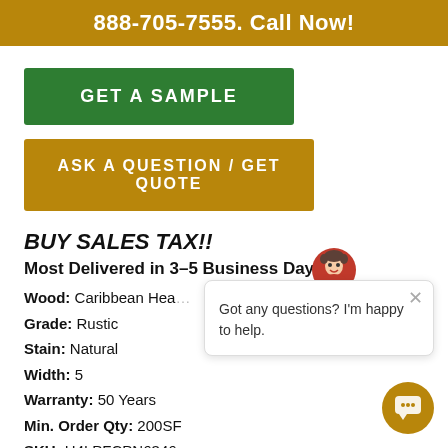888-705-7555. Call Now!
GET A SAMPLE
ASK A QUESTION / GET QUOTE
BUY ONLINE = ZERO SALES TAX!!
Most Delivered in 3-5 Business Days!
Wood: Caribbean Hea...
Grade: Rustic
Stain: Natural
Width: 5
Warranty: 50 Years
Min. Order Qty: 200SF
SKU: H4LPFCPN6346
Got any questions? I'm happy to help.